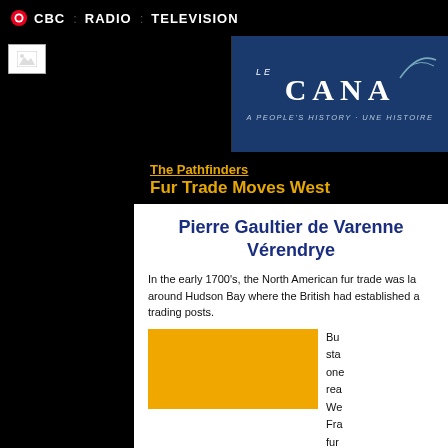CBC  :  RADIO  :  TELEVISION
[Figure (screenshot): CBC website banner with CBC logo, navigation links for RADIO and TELEVISION, and 'Le Canada: A People's History / Une Histoire' banner image in dark blue]
The Pathfinders
Fur Trade Moves West
Pierre Gaultier de Varenne Vérendrye
In the early 1700's, the North American fur trade was largely around Hudson Bay where the British had established a trading posts.
Bu sta one rea We Fra fur